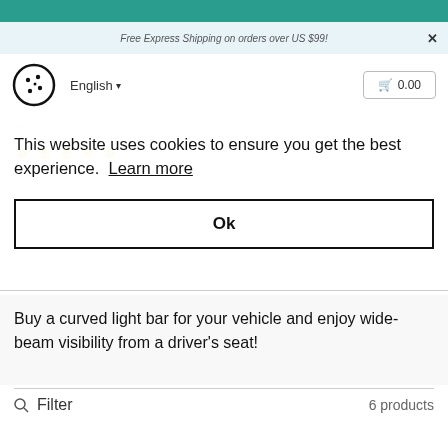Free Express Shipping on orders over US $99!
[Figure (logo): Cookie/biscuit logo icon (circle with dots)]
English ▾
0.00
This website uses cookies to ensure you get the best experience. Learn more
Ok
Buy a curved light bar for your vehicle and enjoy wide-beam visibility from a driver's seat!
Filter
6 products